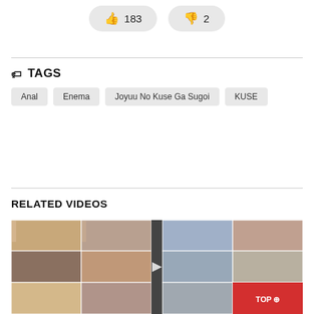[Figure (other): Like button showing 183 and dislike button showing 2]
TAGS: Anal, Enema, Joyuu No Kuse Ga Sugoi, KUSE
RELATED VIDEOS
[Figure (screenshot): Thumbnail collage of related videos with a red TOP badge]